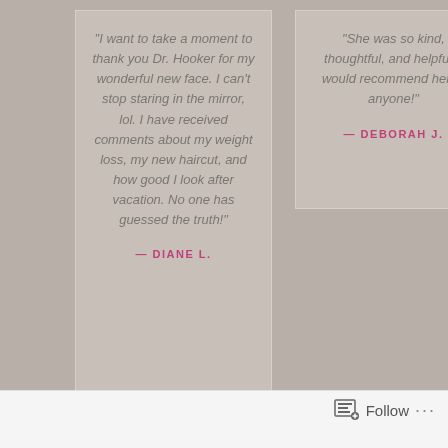"I want to take a moment to thank you Dr. Hooker for my wonderful new face. I can't stop staring in the mirror, lol. I have received comments about my weight loss, my new haircut, and how good I look after vacation. No one has guessed the truth!"
— DIANE L.
"She was so kind, thoughtful, and helpful. I would recommend her to anyone!"
— DEBORAH J.